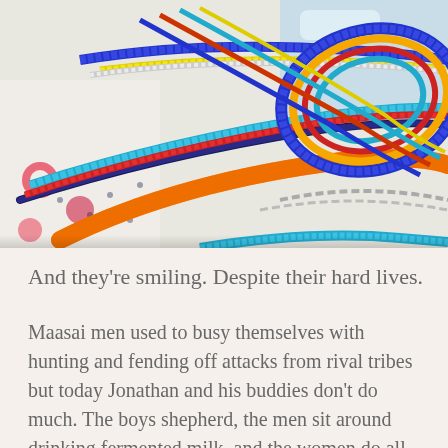[Figure (photo): Close-up photograph of colorful Maasai beaded necklaces and jewelry with vibrant colors including blue, orange, red, yellow, teal, white, and black beads arranged in layered strands]
And they're smiling. Despite their hard lives.
Maasai men used to busy themselves with hunting and fending off attacks from rival tribes but today Jonathan and his buddies don't do much. The boys shepherd, the men sit around drinking fermented milk, and the women do all the work.